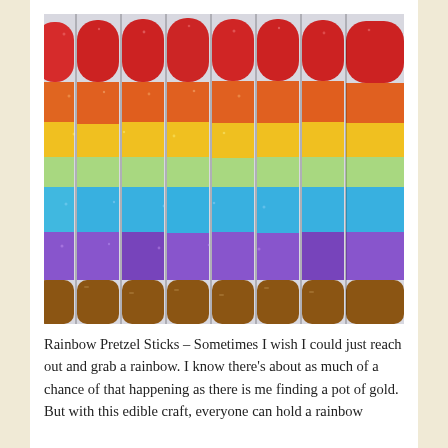[Figure (photo): Rainbow-colored sugar-coated pretzel sticks standing upright, showing bands of red, orange, yellow, light green, blue, and purple sugar crystals from top to bottom, with the natural brown pretzel exposed at the base.]
Rainbow Pretzel Sticks – Sometimes I wish I could just reach out and grab a rainbow. I know there's about as much of a chance of that happening as there is me finding a pot of gold. But with this edible craft, everyone can hold a rainbow